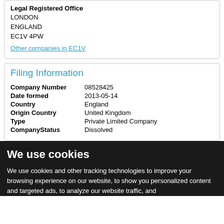Legal Registered Office
LONDON
ENGLAND
EC1V 4PW
Other companies in EC1V
Filing Information
| Company Number | 08528425 |
| Date formed | 2013-05-14 |
| Country | England |
| Origin Country | United Kingdom |
| Type | Private Limited Company |
| CompanyStatus | Dissolved |
We use cookies
We use cookies and other tracking technologies to improve your browsing experience on our website, to show you personalized content and targeted ads, to analyze our website traffic, and